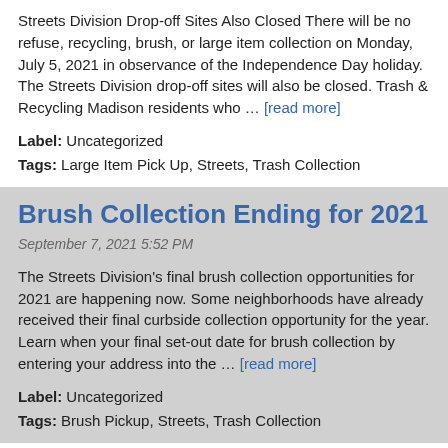Streets Division Drop-off Sites Also Closed There will be no refuse, recycling, brush, or large item collection on Monday, July 5, 2021 in observance of the Independence Day holiday. The Streets Division drop-off sites will also be closed. Trash & Recycling Madison residents who … [read more]
Label: Uncategorized
Tags: Large Item Pick Up, Streets, Trash Collection
Brush Collection Ending for 2021
September 7, 2021 5:52 PM
The Streets Division's final brush collection opportunities for 2021 are happening now. Some neighborhoods have already received their final curbside collection opportunity for the year. Learn when your final set-out date for brush collection by entering your address into the … [read more]
Label: Uncategorized
Tags: Brush Pickup, Streets, Trash Collection